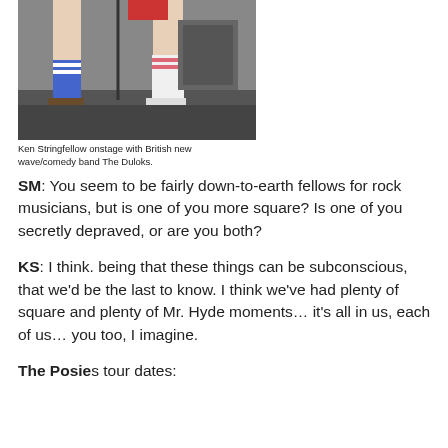[Figure (photo): Photo of Ken Stringfellow onstage with British new wave/comedy band The Duloks. Shows legs of performers in knee-high socks on a stage.]
Ken Stringfellow onstage with British new wave/comedy band The Duloks.
SM: You seem to be fairly down-to-earth fellows for rock musicians, but is one of you more square? Is one of you secretly depraved, or are you both?
KS: I think. being that these things can be subconscious, that we'd be the last to know. I think we've had plenty of square and plenty of Mr. Hyde moments… it's all in us, each of us… you too, I imagine.
The Posies tour dates: